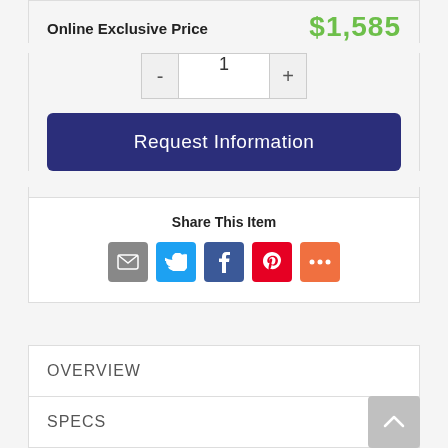Online Exclusive Price
$1,585
[Figure (other): Quantity selector with minus button, input showing 1, and plus button]
Request Information
Share This Item
[Figure (infographic): Social sharing icons: Email (grey), Twitter (blue), Facebook (dark blue), Pinterest (red), More (orange)]
OVERVIEW
SPECS
VIDEOS